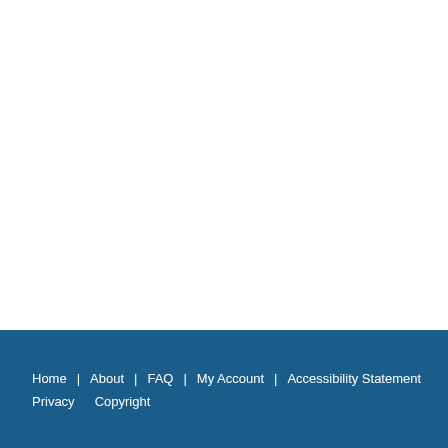Home | About | FAQ | My Account | Accessibility Statement Privacy Copyright